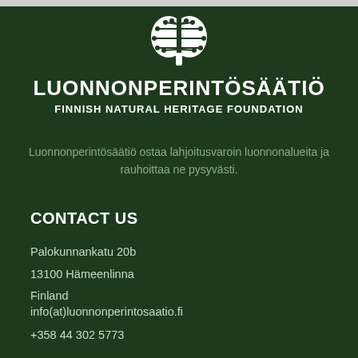[Figure (logo): White tree logo with circular branches and dots on dark green background]
LUONNONPERINTÖSÄÄTIÖ
FINNISH NATURAL HERITAGE FOUNDATION
Luonnonperintösäätiö ostaa lahjoitusvaroin luonnonalueita ja rauhoittaa ne pysyvästi.
CONTACT US
Palokunnankatu 20b
13100 Hämeenlinna
Finland
info(at)luonnonperintosaatio.fi
+358 44 302 5773